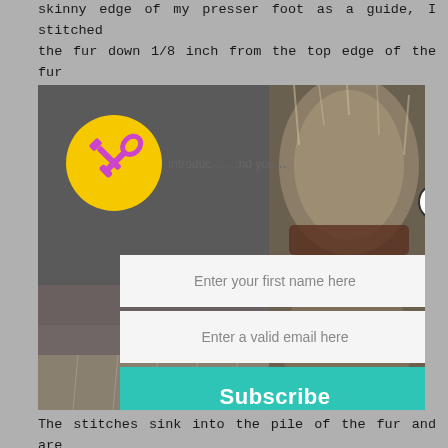skinny edge of my presser foot as a guide, I stitched the fur down 1/8 inch from the top edge of the fur trim.
[Figure (photo): Two-panel before/after photo showing a fur-trimmed hood or garment. Left panel shows the fabric/knit side, right panel shows the fur trim detail up close. A yellow circle icon with crossed hammer and wrench tools overlays the left panel. A white popup with email subscription form overlays the center. Popup has 'Enter your first name here', 'Enter a valid email here' input fields and a teal 'Subscribe' button. A close (X) button appears top-right of popup.]
The stitches sink into the pile of the fur and are hardly noticeable. I took a pin and picked out a few.